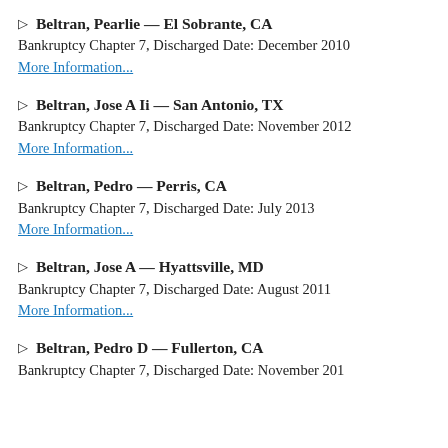▷ Beltran, Pearlie — El Sobrante, CA
Bankruptcy Chapter 7, Discharged Date: December 2010
More Information...
▷ Beltran, Jose A Ii — San Antonio, TX
Bankruptcy Chapter 7, Discharged Date: November 2012
More Information...
▷ Beltran, Pedro — Perris, CA
Bankruptcy Chapter 7, Discharged Date: July 2013
More Information...
▷ Beltran, Jose A — Hyattsville, MD
Bankruptcy Chapter 7, Discharged Date: August 2011
More Information...
▷ Beltran, Pedro D — Fullerton, CA
Bankruptcy Chapter 7, Discharged Date: November 201...